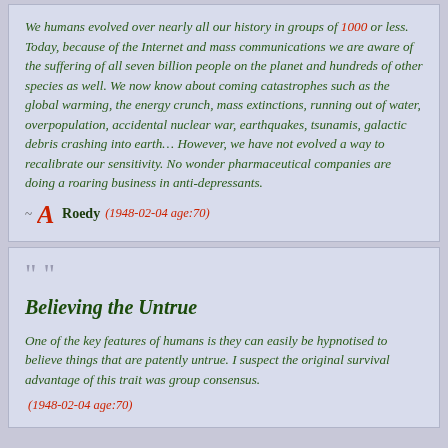We humans evolved over nearly all our history in groups of 1000 or less. Today, because of the Internet and mass communications we are aware of the suffering of all seven billion people on the planet and hundreds of other species as well. We now know about coming catastrophes such as the global warming, the energy crunch, mass extinctions, running out of water, overpopulation, accidental nuclear war, earthquakes, tsunamis, galactic debris crashing into earth... However, we have not evolved a way to recalibrate our sensitivity. No wonder pharmaceutical companies are doing a roaring business in anti-depressants.
~ ARoedy (1948-02-04 age:70)
Believing the Untrue
One of the key features of humans is they can easily be hypnotised to believe things that are patently untrue. I suspect the original survival advantage of this trait was group consensus.
ARoedy (1948-02-04 age:70)